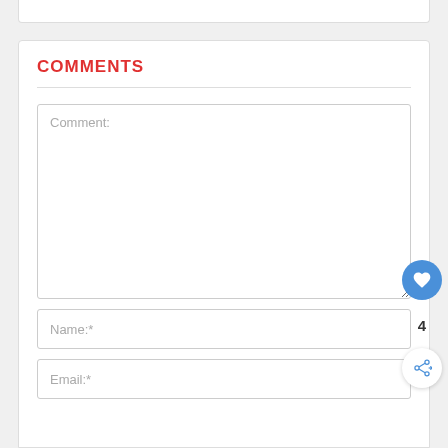COMMENTS
[Figure (screenshot): Comment form with a textarea labeled 'Comment:', an input field labeled 'Name:*', and an input field labeled 'Email:*'. A blue circular heart/like button with count 4 and a share button are overlaid on the right side.]